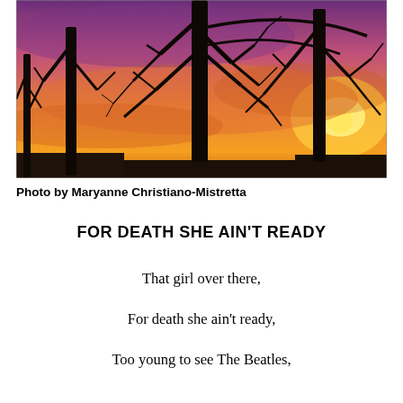[Figure (photo): Photograph of bare winter trees silhouetted against a vivid purple, orange, and pink sunset sky, with a bright sun visible on the right side and snow-covered rooftops at the bottom.]
Photo by Maryanne Christiano-Mistretta
FOR DEATH SHE AIN'T READY
That girl over there,
For death she ain't ready,
Too young to see The Beatles,